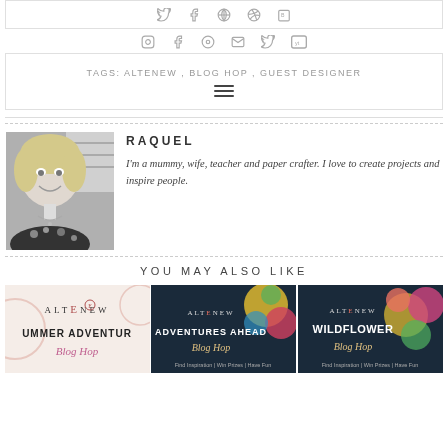[Figure (other): Social media icons row (Twitter, Facebook, Google+, Pinterest, Bloglovin)]
[Figure (other): Social media icons row (Instagram, Facebook, Pinterest, Email, Twitter, YouTube)]
TAGS: ALTENEW, BLOG HOP, GUEST DESIGNER
[Figure (other): Hamburger menu icon]
[Figure (photo): Black and white photo of Raquel, a woman with blonde hair smiling]
RAQUEL
I'm a mummy, wife, teacher and paper crafter. I love to create projects and inspire people.
YOU MAY ALSO LIKE
[Figure (photo): Altenew Summer Adventure Blog Hop promotional banner]
[Figure (photo): Altenew Adventures Ahead Blog Hop promotional banner]
[Figure (photo): Altenew Wildflower Blog Hop promotional banner]